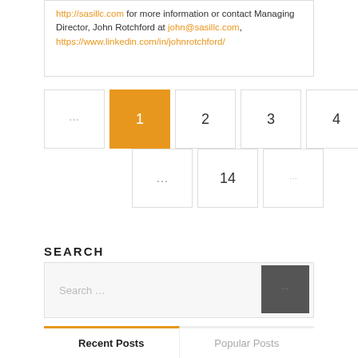http://sasillc.com for more information or contact Managing Director, John Rotchford at john@sasillc.com, https://www.linkedin.com/in/johnrotchford/
Pagination: ← 1 2 3 4 5 ... 14 →
SEARCH
Search ...
| Recent Posts | Popular Posts |
| --- | --- |